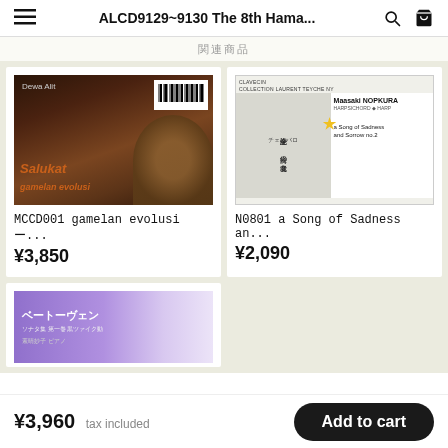ALCD9129~9130 The 8th Hama...
関連商品
[Figure (photo): CD cover for Salukat gamelan evolusi by Dewa Alit, dark brown background with gamelan instrument]
MCCD001 gamelan evolusiの...
¥3,850
[Figure (photo): CD cover for N0801 a Song of Sadness, white cover with Japanese text and harpsichord player Maasaki Nopkura]
N0801 a Song of Sadness an...
¥2,090
[Figure (photo): CD cover with purple/lavender gradient, Beethoven text in Japanese]
¥3,960 tax included  Add to cart